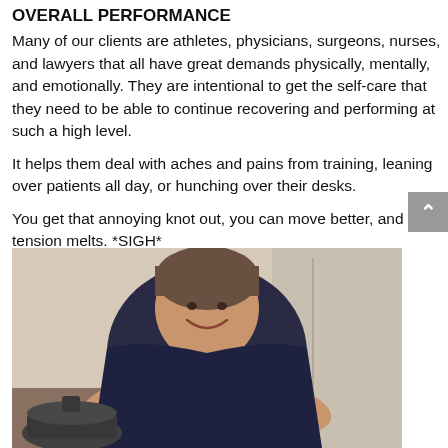OVERALL PERFORMANCE
Many of our clients are athletes, physicians, surgeons, nurses, and lawyers that all have great demands physically, mentally, and emotionally. They are intentional to get the self-care that they need to be able to continue recovering and performing at such a high level.
It helps them deal with aches and pains from training, leaning over patients all day, or hunching over their desks.
You get that annoying knot out, you can move better, and the tension melts.  *SIGH*
[Figure (photo): A smiling woman with short gray-brown hair wearing a dark navy t-shirt, leaning forward and smiling, appearing to perform a massage or similar hands-on work. There is a pot visible in the lower left and what appears to be a room interior in the background.]